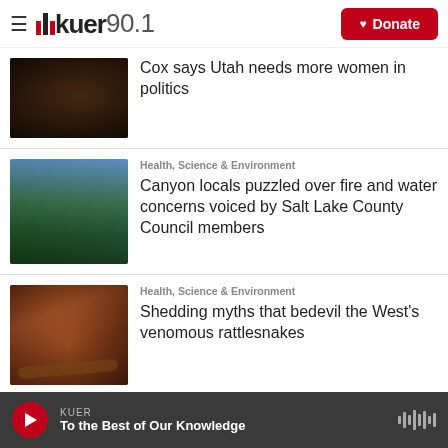KUER 90.1 — Donate
[Figure (photo): Dark indoor scene, people seated]
Cox says Utah needs more women in politics
[Figure (photo): Aerial view of mountain lake surrounded by dense forest]
Health, Science & Environment
Canyon locals puzzled over fire and water concerns voiced by Salt Lake County Council members
[Figure (photo): Rattlesnake on red desert rocks]
Health, Science & Environment
Shedding myths that bedevil the West's venomous rattlesnakes
KUER — To the Best of Our Knowledge